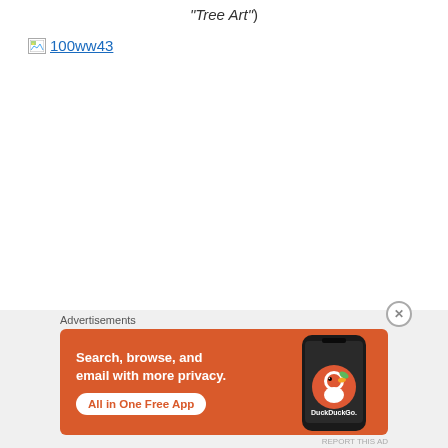“Tree Art”)
[Figure (other): Broken image placeholder icon with link text '100ww43' in blue hyperlink style]
Advertisements
[Figure (other): DuckDuckGo advertisement banner with orange background. Text: 'Search, browse, and email with more privacy. All in One Free App'. Shows a phone with DuckDuckGo logo and app interface.]